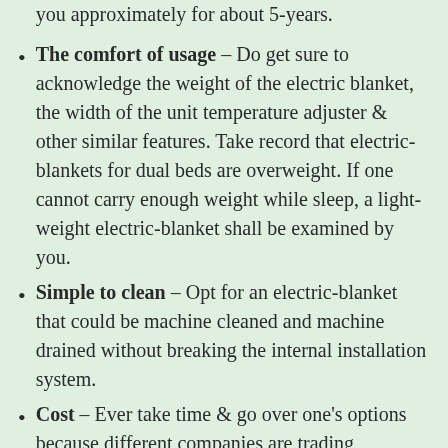you approximately for about 5-years.
The comfort of usage – Do get sure to acknowledge the weight of the electric blanket, the width of the unit temperature adjuster & other similar features. Take record that electric-blankets for dual beds are overweight. If one cannot carry enough weight while sleep, a light-weight electric-blanket shall be examined by you.
Simple to clean – Opt for an electric-blanket that could be machine cleaned and machine drained without breaking the internal installation system.
Cost – Ever take time & go over one's options because different companies are trading